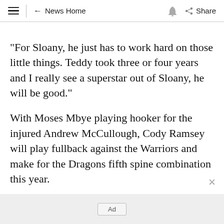≡  ← News Home  🔔  Share
"For Sloany, he just has to work hard on those little things. Teddy took three or four years and I really see a superstar out of Sloany, he will be good."
With Moses Mbye playing hooker for the injured Andrew McCullough, Cody Ramsey will play fullback against the Warriors and make for the Dragons fifth spine combination this year.
Captain Ben Hunt has admitted that takes
Ad